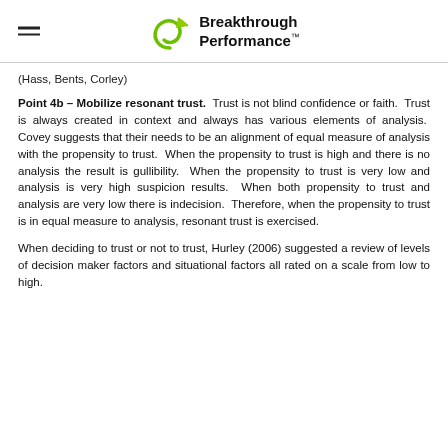Breakthrough Performance™
(Hass, Bents, Corley)
Point 4b - Mobilize resonant trust. Trust is not blind confidence or faith. Trust is always created in context and always has various elements of analysis. Covey suggests that their needs to be an alignment of equal measure of analysis with the propensity to trust. When the propensity to trust is high and there is no analysis the result is gullibility. When the propensity to trust is very low and analysis is very high suspicion results. When both propensity to trust and analysis are very low there is indecision. Therefore, when the propensity to trust is in equal measure to analysis, resonant trust is exercised.
When deciding to trust or not to trust, Hurley (2006) suggested a review of levels of decision maker factors and situational factors all rated on a scale from low to high.